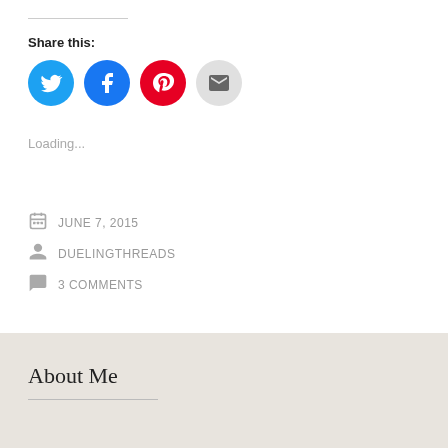Share this:
[Figure (infographic): Four circular social share buttons: Twitter (blue), Facebook (blue), Pinterest (red), Email (gray)]
Loading...
JUNE 7, 2015
DUELINGTHREADS
3 COMMENTS
About Me